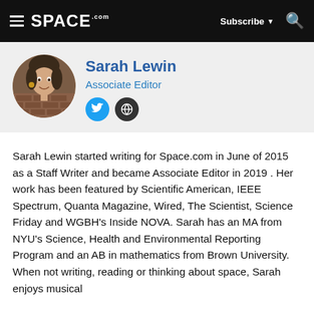SPACE.com — Subscribe — Search
Sarah Lewin
Associate Editor
[Figure (photo): Circular profile photo of Sarah Lewin, a woman with dark hair smiling, set against a brick wall background. Below the photo are Twitter and web social media icon buttons.]
Sarah Lewin started writing for Space.com in June of 2015 as a Staff Writer and became Associate Editor in 2019 . Her work has been featured by Scientific American, IEEE Spectrum, Quanta Magazine, Wired, The Scientist, Science Friday and WGBH's Inside NOVA. Sarah has an MA from NYU's Science, Health and Environmental Reporting Program and an AB in mathematics from Brown University. When not writing, reading or thinking about space, Sarah enjoys musical